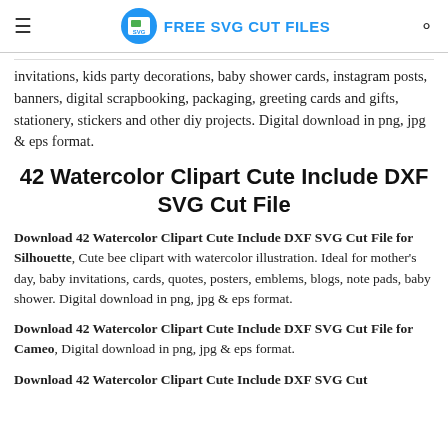FREE SVG CUT FILES
invitations, kids party decorations, baby shower cards, instagram posts, banners, digital scrapbooking, packaging, greeting cards and gifts, stationery, stickers and other diy projects. Digital download in png, jpg & eps format.
42 Watercolor Clipart Cute Include DXF SVG Cut File
Download 42 Watercolor Clipart Cute Include DXF SVG Cut File for Silhouette, Cute bee clipart with watercolor illustration. Ideal for mother's day, baby invitations, cards, quotes, posters, emblems, blogs, note pads, baby shower. Digital download in png, jpg & eps format.
Download 42 Watercolor Clipart Cute Include DXF SVG Cut File for Cameo, Digital download in png, jpg & eps format.
Download 42 Watercolor Clipart Cute Include DXF SVG Cut